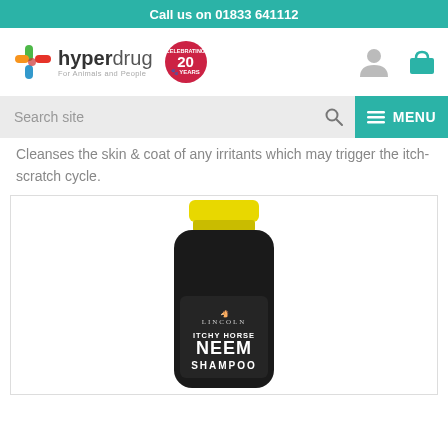Call us on 01833 641112
[Figure (logo): Hyperdrug logo with paw print icon, text 'hyperdrug For Animals and People' and a red circular badge '20 YEARS CELEBRATING']
[Figure (screenshot): Search bar with 'Search site' placeholder and teal MENU button]
Cleanses the skin & coat of any irritants which may trigger the itch-scratch cycle.
[Figure (photo): Lincoln Itchy Horse Neem Shampoo bottle - dark/black bottle with yellow cap, label reads 'LINCOLN ITCHY HORSE NEEM SHAMPOO']